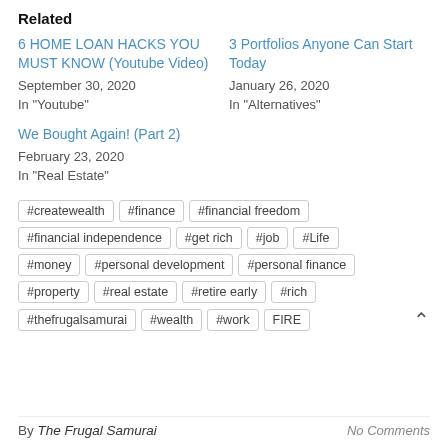Related
6 HOME LOAN HACKS YOU MUST KNOW (Youtube Video)
September 30, 2020
In "Youtube"
3 Portfolios Anyone Can Start Today
January 26, 2020
In "Alternatives"
We Bought Again! (Part 2)
February 23, 2020
In "Real Estate"
#createwealth
#finance
#financial freedom
#financial independence
#get rich
#job
#Life
#money
#personal development
#personal finance
#property
#real estate
#retire early
#rich
#thefrugalsamurai
#wealth
#work
FIRE
By The Frugal Samurai    No Comments